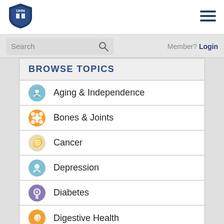[Figure (logo): UHN shield logo with book icon, navy blue]
[Figure (other): Hamburger menu icon (three horizontal lines)]
Search
Member? Login
BROWSE TOPICS
Aging & Independence
Bones & Joints
Cancer
Depression
Diabetes
Digestive Health